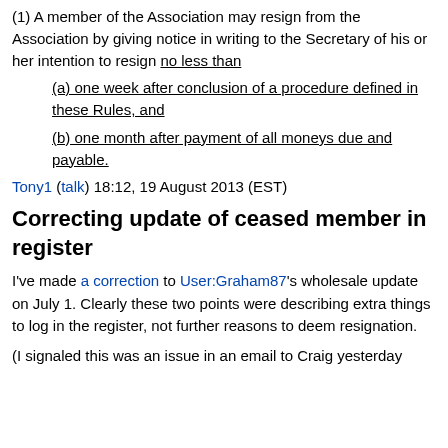(1) A member of the Association may resign from the Association by giving notice in writing to the Secretary of his or her intention to resign no less than
(a) one week after conclusion of a procedure defined in these Rules, and
(b) one month after payment of all moneys due and payable.
Tony1 (talk) 18:12, 19 August 2013 (EST)
Correcting update of ceased member in register
I've made a correction to User:Graham87's wholesale update on July 1. Clearly these two points were describing extra things to log in the register, not further reasons to deem resignation.
(I signaled this was an issue in an email to Craig yesterday